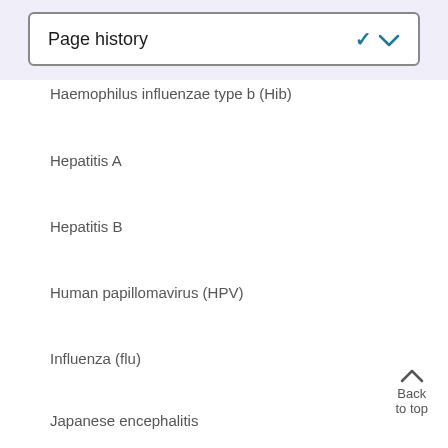Page history
Haemophilus influenzae type b (Hib)
Hepatitis A
Hepatitis B
Human papillomavirus (HPV)
Influenza (flu)
Japanese encephalitis
Measles
Meningococcal disease